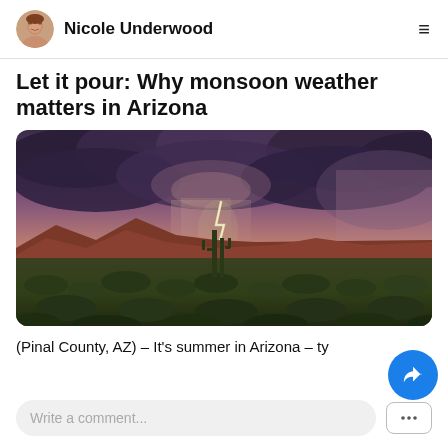Nicole Underwood
Let it pour: Why monsoon weather matters in Arizona
[Figure (photo): Arizona desert monsoon scene: dramatic stormy sky with dark clouds, a lightning bolt striking in the distance, red mountains on the horizon, saguaro cacti silhouetted in the foreground, green desert scrub vegetation covering the ground.]
(Pinal County, AZ) – It's summer in Arizona – ty